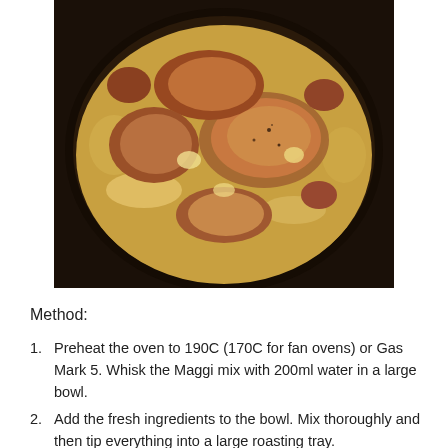[Figure (photo): A round dark cooking pan/tray filled with seared pork chops and sliced onions in a creamy golden sauce, photographed from above.]
Method:
Preheat the oven to 190C (170C for fan ovens) or Gas Mark 5. Whisk the Maggi mix with 200ml water in a large bowl.
Add the fresh ingredients to the bowl. Mix thoroughly and then tip everything into a large roasting tray.